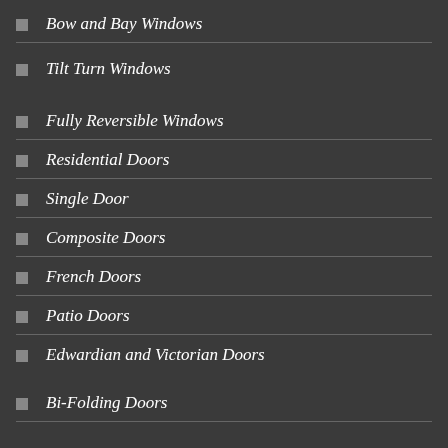Bow and Bay Windows
Tilt Turn Windows
Fully Reversible Windows
Residential Doors
Single Door
Composite Doors
French Doors
Patio Doors
Edwardian and Victorian Doors
Bi-Folding Doors